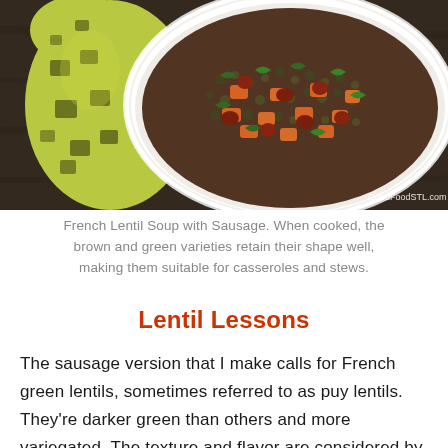[Figure (photo): A bowl of French Lentil Soup with Sausage, showing carrots, greens, lentils, and sausage pieces in a dark broth. A yellow-green patterned oven mitt is partially visible on the left side. A watermark reads GoodFoodSTL.com in the bottom right corner.]
French Lentil Soup with Sausage. When cooked, the brown and green varieties retain their shape well, making them suitable for casseroles and stews.
Lentil Lessons
The sausage version that I make calls for French green lentils, sometimes referred to as puy lentils. They're darker green than others and more variegated. The texture and flavor are considered by many to be the most